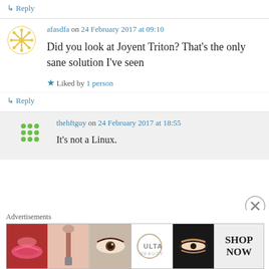↳ Reply
afasdfa on 24 February 2017 at 09:10
Did you look at Joyent Triton? That's the only sane solution I've seen
★ Liked by 1 person
↳ Reply
thehftguy on 24 February 2017 at 18:55
It's not a Linux.
Advertisements